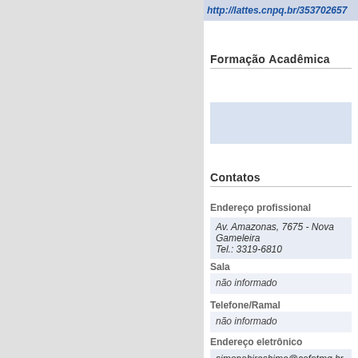http://lattes.cnpq.br/353702657
Formação Acadêmica
Contatos
Endereço profissional
Av. Amazonas, 7675 - Nova Gameleira
Tel.: 3319-6810
Sala
não informado
Telefone/Ramal
não informado
Endereço eletrônico
simonehirashima@cefetmg.br
SIGAA | Diretoria de Tecnologia da Informação - DTI - (31) 3319-7000 | Co
Modo Mo